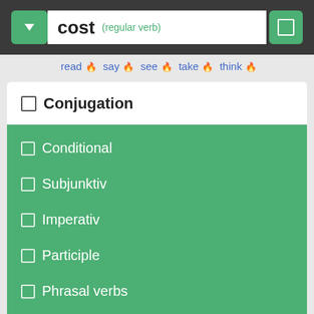cost (regular verb)
read 🔥 say 🔥 see 🔥 take 🔥 think 🔥
□ Conjugation
□ Conditional
□ Subjunktiv
□ Imperativ
□ Participle
□ Phrasal verbs